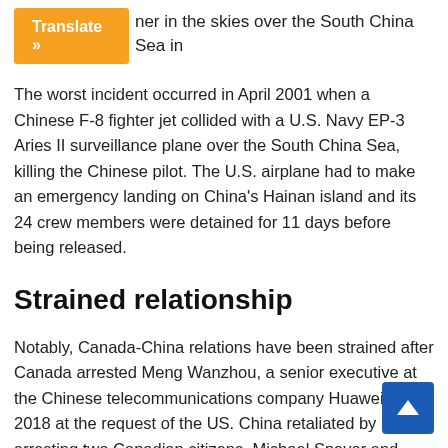her in the skies over the South China Sea in
Translate »
The worst incident occurred in April 2001 when a Chinese F-8 fighter jet collided with a U.S. Navy EP-3 Aries II surveillance plane over the South China Sea, killing the Chinese pilot. The U.S. airplane had to make an emergency landing on China's Hainan island and its 24 crew members were detained for 11 days before being released.
Strained relationship
Notably, Canada-China relations have been strained after Canada arrested Meng Wanzhou, a senior executive at the Chinese telecommunications company Huawei in 2018 at the request of the US. China retaliated by arresting two Canadian citizens, Michael Spavor and Michael Kovrig.
The two Canadians were released last September after was allowed to return to China. Relations between the two